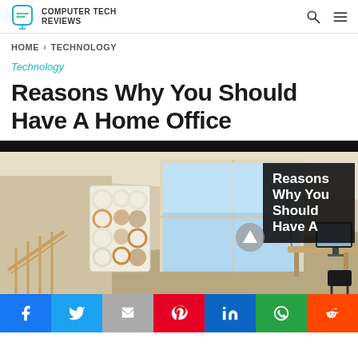COMPUTER TECH REVIEWS
HOME > TECHNOLOGY
Technology
Reasons Why You Should Have A Home Office
[Figure (photo): Interior room image showing a home office setup near a large window, with decorative wall shelves, a computer monitor, and a staircase railing. An overlay text box reads 'Reasons Why You Should Have A' with an arrow icon.]
Share buttons: Facebook, Twitter, Gmail, Pinterest, LinkedIn, WhatsApp, Reddit